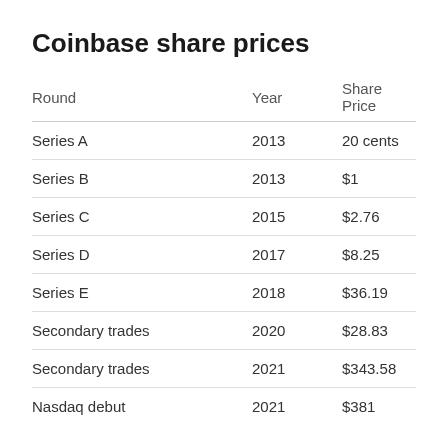Coinbase share prices
| Round | Year | Share Price |
| --- | --- | --- |
| Series A | 2013 | 20 cents |
| Series B | 2013 | $1 |
| Series C | 2015 | $2.76 |
| Series D | 2017 | $8.25 |
| Series E | 2018 | $36.19 |
| Secondary trades | 2020 | $28.83 |
| Secondary trades | 2021 | $343.58 |
| Nasdaq debut | 2021 | $381 |